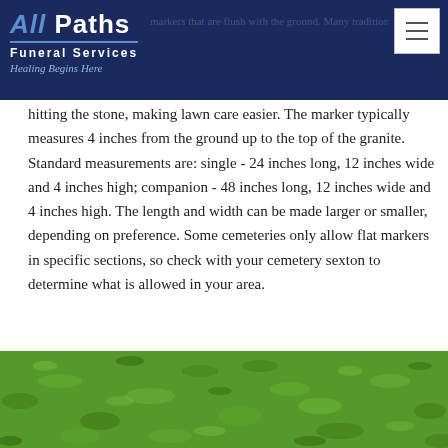All Paths Funeral Services — Healing Begins Here
hitting the stone, making lawn care easier. The marker typically measures 4 inches from the ground up to the top of the granite. Standard measurements are: single - 24 inches long, 12 inches wide and 4 inches high; companion - 48 inches long, 12 inches wide and 4 inches high. The length and width can be made larger or smaller, depending on preference. Some cemeteries only allow flat markers in specific sections, so check with your cemetery sexton to determine what is allowed in your area.
[Figure (photo): Close-up photograph of green grass lawn, representing cemetery grounds where flat markers are placed flush with the ground.]